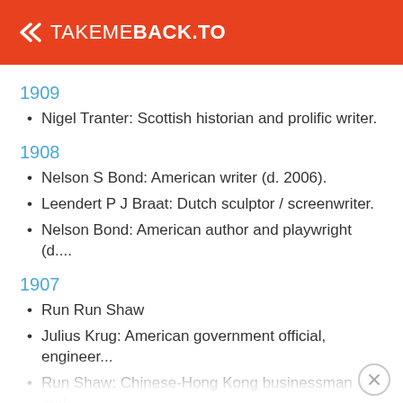TAKEMEBACK.TO
1909
Nigel Tranter: Scottish historian and prolific writer.
1908
Nelson S Bond: American writer (d. 2006).
Leendert P J Braat: Dutch sculptor / screenwriter.
Nelson Bond: American author and playwright (d....
1907
Run Run Shaw
Julius Krug: American government official, engineer...
Run Shaw: Chinese-Hong Kong businessman and...
Lars Leksell: Swedish physician and